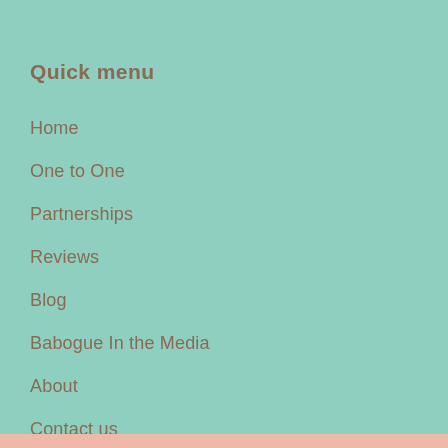Quick menu
Home
One to One
Partnerships
Reviews
Blog
Babogue In the Media
About
Contact us
Sitemap
Terms & Conditions